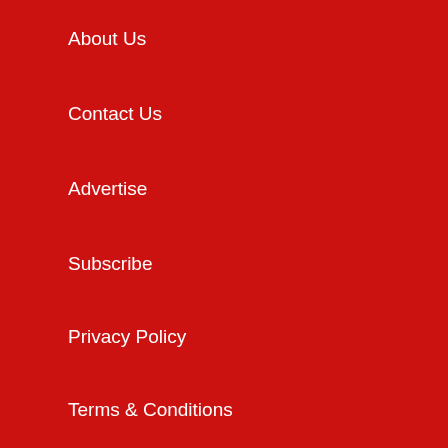About Us
Contact Us
Advertise
Subscribe
Privacy Policy
Terms & Conditions
POPULAR TOPICS
Business
Feature
Research
Technology